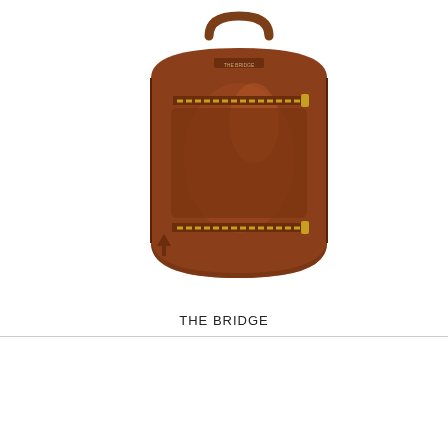[Figure (photo): Brown leather backpack by The Bridge, with gold zippers, a top handle, and front zip pocket, displayed on white background]
THE BRIDGE
Rucksack The Bridge 06233901 14
€ 550,00
VAT-FREE € 450,82 (for extra UE only)